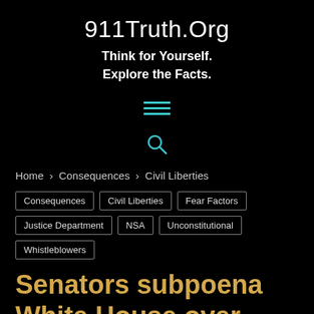911Truth.Org
Think for Yourself.
Explore the Facts.
Home › Consequences › Civil Liberties
Consequences
Civil Liberties
Fear Factors
Justice Department
NSA
Unconstitutional
Whistleblowers
Senators subpoena White House over illegal surveillance programme